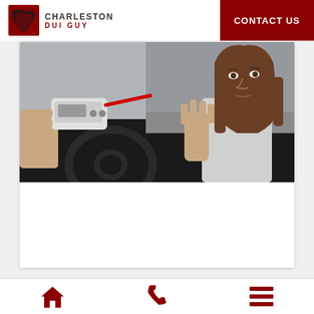[Figure (logo): Charleston DUI Guy logo with red/black map icon and text]
CONTACT US
[Figure (photo): A woman in a car reacting with raised hand as someone holds a breathalyzer device toward her through the car window]
[Figure (photo): Partial view of two people, one appearing to be in handcuffs, at the bottom of the page]
[Figure (infographic): Bottom navigation bar with home icon, phone icon, and hamburger menu icon in dark red]